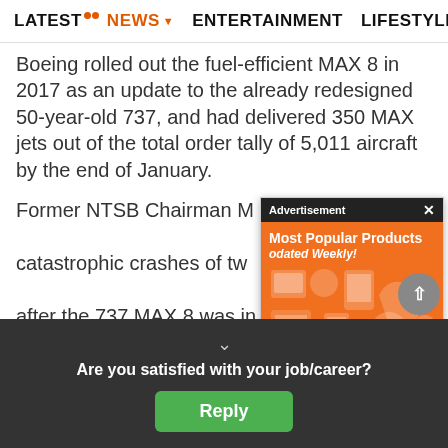LATEST • NEWS ▾ ENTERTAINMENT LIFESTYLE E>
Boeing rolled out the fuel-efficient MAX 8 in 2017 as an update to the already redesigned 50-year-old 737, and had delivered 350 MAX jets out of the total order tally of 5,011 aircraft by the end of January.
Former NTSB Chairman Ma[...] catastrophic crashes of tw[...] after the 737 MAX 8 was in[...] unusual" and both had bro[...] they went down soon afte[...]
[Figure (screenshot): Advertisement overlay: dark header bar reading 'Advertisement x', orange background with 'Most Popular Products Updated Weekly!' text and product icons.]
While it is unclear if there is a direct link, "this is now an extraordinary issue" for aviation safety official[...] sweepi[...] are comm[...]
[Figure (screenshot): Poll overlay at bottom: dark background with bold text 'Are you satisfied with your job/career?' and a green Reply button.]